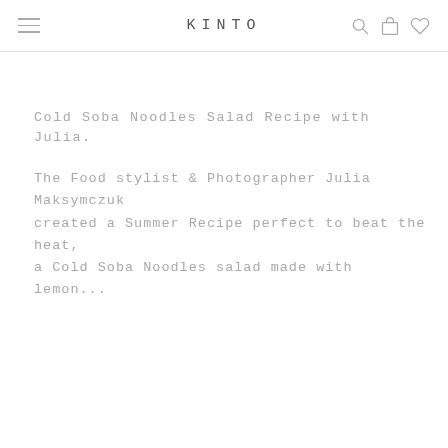KINTO
Cold Soba Noodles Salad Recipe with Julia.
The Food stylist & Photographer Julia Maksymczuk created a Summer Recipe perfect to beat the heat, a Cold Soba Noodles salad made with lemon...